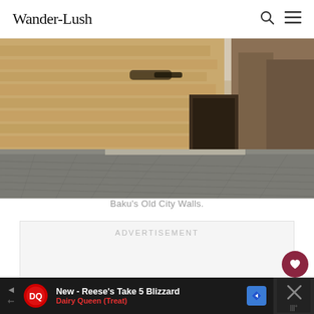Wander-Lush
[Figure (photo): Wide panoramic photo of Baku's Old City Walls, showing ancient stone walls and cobblestone courtyard under bright daylight]
Baku’s Old City Walls.
ADVERTISEMENT
[Figure (infographic): Bottom banner ad: New - Reese's Take 5 Blizzard, Dairy Queen (Treat), with DQ logo and navigation arrow button]
[Figure (infographic): Bottom-right dark panel with X close icon and temperature icon]